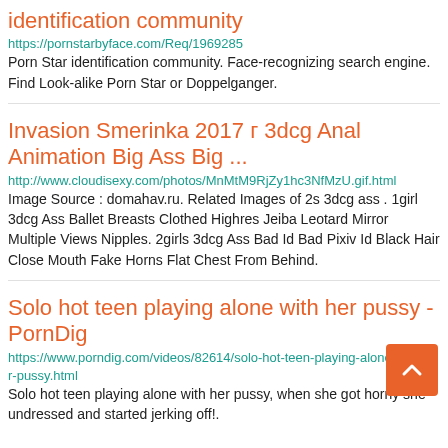identification community
https://pornstarbyface.com/Req/1969285
Porn Star identification community. Face-recognizing search engine. Find Look-alike Porn Star or Doppelganger.
Invasion Smerinka 2017 г 3dcg Anal Animation Big Ass Big ...
http://www.cloudisexy.com/photos/MnMtM9RjZy1hc3NfMzU.gif.html
Image Source : domahav.ru. Related Images of 2s 3dcg ass . 1girl 3dcg Ass Ballet Breasts Clothed Highres Jeiba Leotard Mirror Multiple Views Nipples. 2girls 3dcg Ass Bad Id Bad Pixiv Id Black Hair Close Mouth Fake Horns Flat Chest From Behind.
Solo hot teen playing alone with her pussy - PornDig
https://www.porndig.com/videos/82614/solo-hot-teen-playing-alone-with-her-pussy.html
Solo hot teen playing alone with her pussy, when she got horny she undressed and started jerking off!.